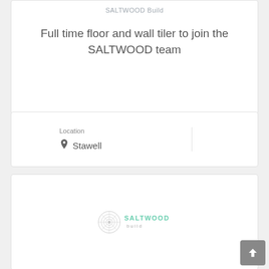SALTWOOD Build
Full time floor and wall tiler to join the SALTWOOD team
Location
Stawell
[Figure (logo): SALTWOOD Build company logo — circular tree-ring emblem on the left, text 'SALTWOOD build' in green/teal on the right]